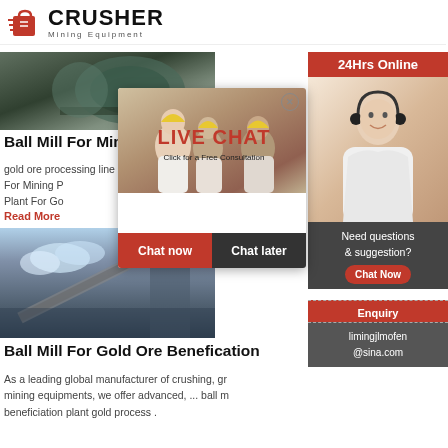CRUSHER Mining Equipment
[Figure (photo): Ball mill machinery photo]
Ball Mill For Mining Processing Gol
gold ore processing line ball mill grinding ball mi... For Mining P... Plant For Go...
Read More
[Figure (photo): Mining conveyor belt / plant photo]
Ball Mill For Gold Ore Benefication
As a leading global manufacturer of crushing, gr... mining equipments, we offer advanced, ... ball m... beneficiation plant gold process .
[Figure (photo): Live Chat overlay with workers in hard hats, Chat now / Chat later buttons]
[Figure (photo): 24Hrs Online banner with customer service representative photo]
Need questions & suggestion? Chat Now
Enquiry
limingjlmofen@sina.com